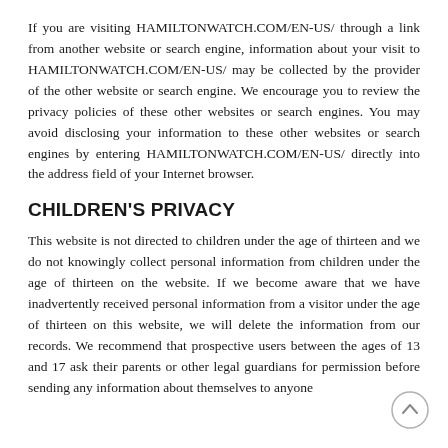If you are visiting HAMILTONWATCH.COM/EN-US/ through a link from another website or search engine, information about your visit to HAMILTONWATCH.COM/EN-US/ may be collected by the provider of the other website or search engine. We encourage you to review the privacy policies of these other websites or search engines. You may avoid disclosing your information to these other websites or search engines by entering HAMILTONWATCH.COM/EN-US/ directly into the address field of your Internet browser.
CHILDREN'S PRIVACY
This website is not directed to children under the age of thirteen and we do not knowingly collect personal information from children under the age of thirteen on the website. If we become aware that we have inadvertently received personal information from a visitor under the age of thirteen on this website, we will delete the information from our records. We recommend that prospective users between the ages of 13 and 17 ask their parents or other legal guardians for permission before sending any information about themselves to anyone